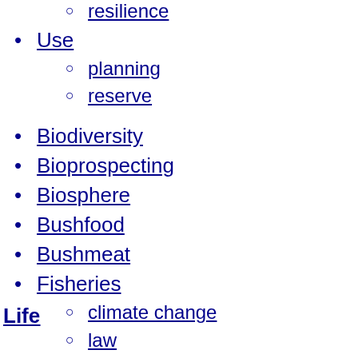health
resilience
Use
planning
reserve
Biodiversity
Bioprospecting
Biosphere
Bushfood
Bushmeat
Fisheries
climate change
law
management
Forests
genetic resources
law
management
non-timber products
Game
law
Marine conservation
Meadow
Plants
Life